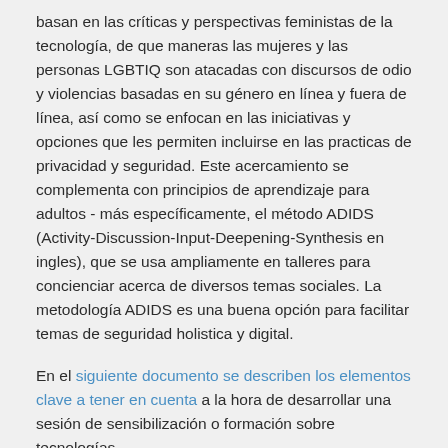basan en las críticas y perspectivas feministas de la tecnología, de que maneras las mujeres y las personas LGBTIQ son atacadas con discursos de odio y violencias basadas en su género en línea y fuera de línea, así como se enfocan en las iniciativas y opciones que les permiten incluirse en las practicas de privacidad y seguridad. Este acercamiento se complementa con principios de aprendizaje para adultos - más específicamente, el método ADIDS (Activity-Discussion-Input-Deepening-Synthesis en ingles), que se usa ampliamente en talleres para concienciar acerca de diversos temas sociales. La metodología ADIDS es una buena opción para facilitar temas de seguridad holistica y digital.
En el siguiente documento se describen los elementos clave a tener en cuenta a la hora de desarrollar una sesión de sensibilización o formación sobre tecnologías